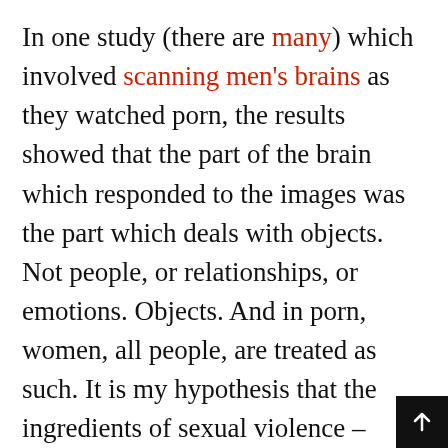In one study (there are many) which involved scanning men's brains as they watched porn, the results showed that the part of the brain which responded to the images was the part which deals with objects. Not people, or relationships, or emotions. Objects. And in porn, women, all people, are treated as such. It is my hypothesis that the ingredients of sexual violence – across the whole spectrum from street harassment to abuse to rape – is the potent combination of a sense of entitlement and dehumanisation/objectification of the target. This combination is what fuels a grope in a pub and a cat call and a smack across the face and th